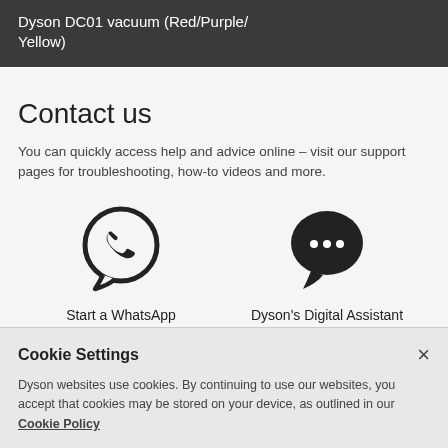Dyson DC01 vacuum (Red/Purple/Yellow)
Contact us
You can quickly access help and advice online – visit our support pages for troubleshooting, how-to videos and more.
[Figure (illustration): WhatsApp icon — circular speech bubble with phone handset inside]
Start a WhatsApp
[Figure (illustration): Chat bubble icon with three dots (ellipsis) inside, representing Dyson's Digital Assistant]
Dyson's Digital Assistant
Cookie Settings
Dyson websites use cookies. By continuing to use our websites, you accept that cookies may be stored on your device, as outlined in our Cookie Policy